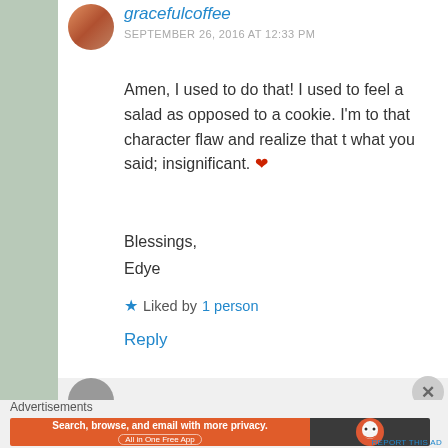gracefulcoffee
SEPTEMBER 26, 2016 AT 12:33 PM
Amen, I used to do that! I used to feel a salad as opposed to a cookie. I'm to that character flaw and realize that t what you said; insignificant. ❤
Blessings,
Edye
★ Liked by 1 person
Reply
Advertisements
[Figure (screenshot): DuckDuckGo advertisement banner: orange left panel reading 'Search, browse, and email with more privacy. All in One Free App', dark right panel with DuckDuckGo duck logo]